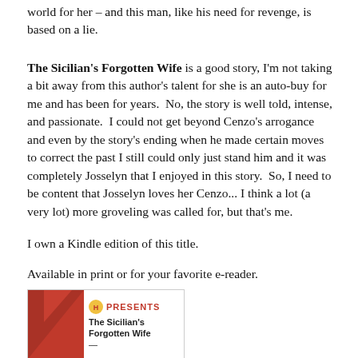world for her – and this man, like his need for revenge, is based on a lie.
The Sicilian's Forgotten Wife is a good story, I'm not taking a bit away from this author's talent for she is an auto-buy for me and has been for years.  No, the story is well told, intense, and passionate.  I could not get beyond Cenzo's arrogance and even by the story's ending when he made certain moves to correct the past I still could only just stand him and it was completely Josselyn that I enjoyed in this story.  So, I need to be content that Josselyn loves her Cenzo... I think a lot (a very lot) more groveling was called for, but that's me.
I own a Kindle edition of this title.
Available in print or for your favorite e-reader.
[Figure (illustration): Book cover thumbnail showing Harlequin Presents edition of The Sicilian's Forgotten Wife with red geometric design and Harlequin logo]